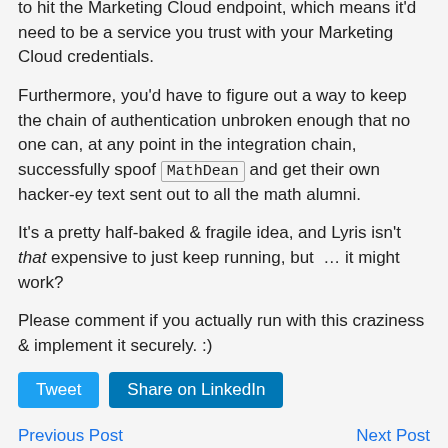to hit the Marketing Cloud endpoint, which means it'd need to be a service you trust with your Marketing Cloud credentials.
Furthermore, you'd have to figure out a way to keep the chain of authentication unbroken enough that no one can, at any point in the integration chain, successfully spoof MathDean and get their own hacker-ey text sent out to all the math alumni.
It's a pretty half-baked & fragile idea, and Lyris isn't that expensive to just keep running, but … it might work?
Please comment if you actually run with this craziness & implement it securely. :)
Tweet | Share on LinkedIn
Previous Post    Next Post